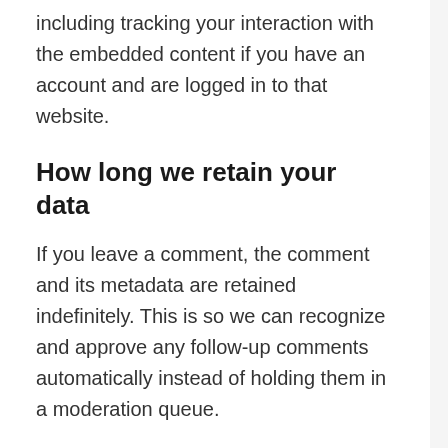including tracking your interaction with the embedded content if you have an account and are logged in to that website.
How long we retain your data
If you leave a comment, the comment and its metadata are retained indefinitely. This is so we can recognize and approve any follow-up comments automatically instead of holding them in a moderation queue.
For users that register on our website (if any), we also store the personal